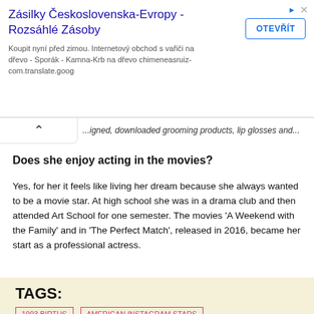[Figure (other): Advertisement banner: Zásilky Československa-Evropy - Rozsáhlé Zásoby with OTEVŘÍT button]
...igned, downloaded grooming products, lip glosses and...
Does she enjoy acting in the movies?
Yes, for her it feels like living her dream because she always wanted to be a movie star. At high school she was in a drama club and then attended Art School for one semester. The movies 'A Weekend with the Family' and in 'The Perfect Match', released in 2016, became her start as a professional actress.
TAGS:
1993 BIRTHS
AMERICAN INSTAGRAM STARS
AMERICAN NET WORTH
INSTAGRAM STARS NET WORTH
25 RICHEST
MONEY